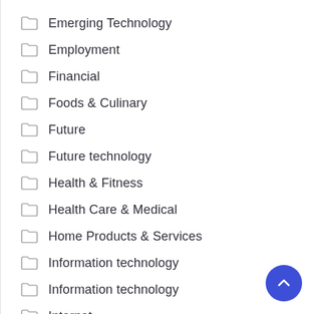Emerging Technology
Employment
Financial
Foods & Culinary
Future
Future technology
Health & Fitness
Health Care & Medical
Home Products & Services
Information technology
Information technology
Internet
Internet
Internet Marketing